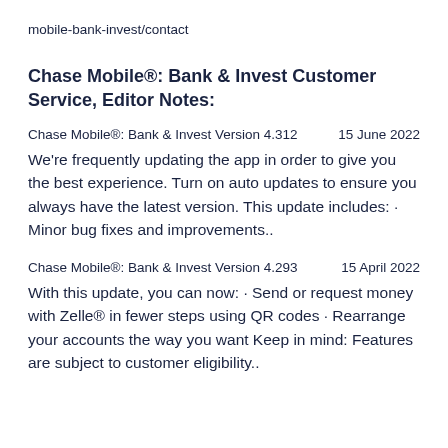mobile-bank-invest/contact
Chase Mobile®: Bank & Invest Customer Service, Editor Notes:
Chase Mobile®: Bank & Invest Version 4.312    15 June 2022
We're frequently updating the app in order to give you the best experience. Turn on auto updates to ensure you always have the latest version. This update includes: · Minor bug fixes and improvements..
Chase Mobile®: Bank & Invest Version 4.293    15 April 2022
With this update, you can now: · Send or request money with Zelle® in fewer steps using QR codes · Rearrange your accounts the way you want Keep in mind: Features are subject to customer eligibility..